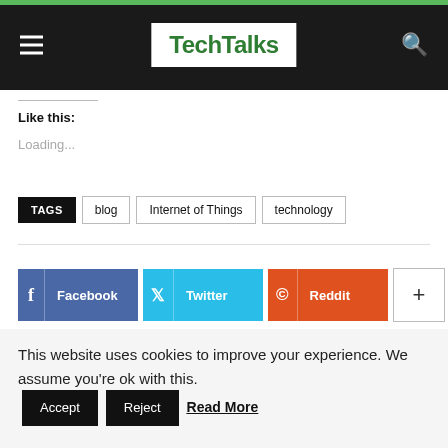TechTalks
Like this:
Loading...
TAGS  blog  Internet of Things  technology
[Figure (other): Social share buttons: Facebook, Twitter, Reddit, and a plus/more button]
This website uses cookies to improve your experience. We assume you're ok with this.  Accept  Reject  Read More